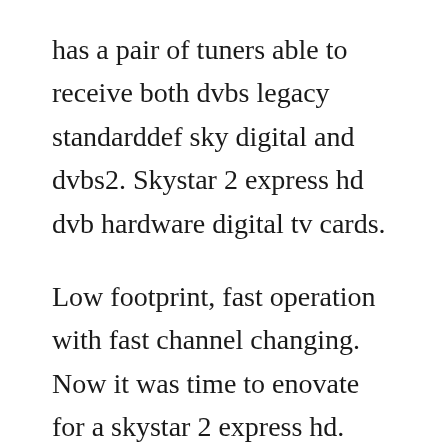has a pair of tuners able to receive both dvbs legacy standarddef sky digital and dvbs2. Skystar 2 express hd dvb hardware digital tv cards.
Low footprint, fast operation with fast channel changing. Now it was time to enovate for a skystar 2 express hd. Mpeg2 transport stream packet analyser enables decoding and low level analysis of isodvb transport streams. Update the technisat skystar 2 tv pci network drivers for windows 7 with ease.
Supports integrated documentation list...